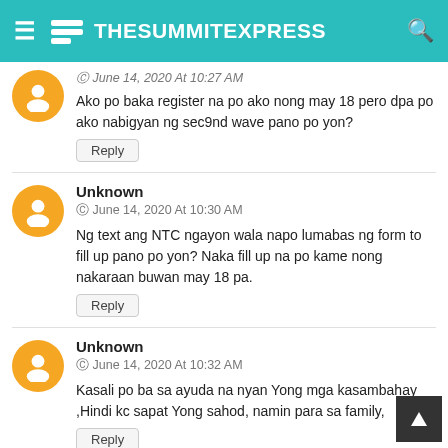TheSummitExpress
June 14, 2020 At 10:27 AM
Ako po baka register na po ako nong may 18 pero dpa po ako nabigyan ng sec9nd wave pano po yon?
Reply
Unknown
June 14, 2020 At 10:30 AM
Ng text ang NTC ngayon wala napo lumabas ng form to fill up pano po yon? Naka fill up na po kame nong nakaraan buwan may 18 pa.
Reply
Unknown
June 14, 2020 At 10:32 AM
Kasali po ba sa ayuda na nyan Yong mga kasambahay ,Hindi kc sapat Yong sahod, namin para sa family,
Reply